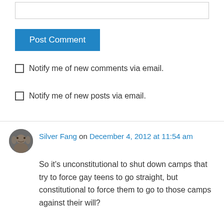[Figure (screenshot): Empty text input box for comment form]
Post Comment
Notify me of new comments via email.
Notify me of new posts via email.
Silver Fang on December 4, 2012 at 11:54 am
So it's unconstitutional to shut down camps that try to force gay teens to go straight, but constitutional to force them to go to those camps against their will?